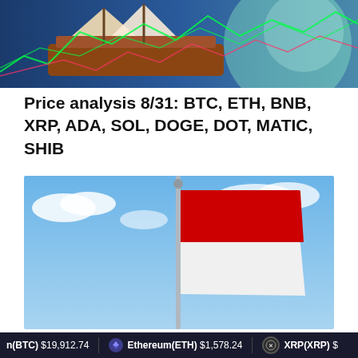[Figure (illustration): Decorative banner image showing a pirate ship with trading chart lines overlaid, colorful glowing background elements]
Price analysis 8/31: BTC, ETH, BNB, XRP, ADA, SOL, DOGE, DOT, MATIC, SHIB
[Figure (photo): Photo of an Indonesian red and white flag on a flagpole against a blue sky with clouds]
n(BTC) $19,912.74   Ethereum(ETH) $1,578.24   XRP(XRP) $